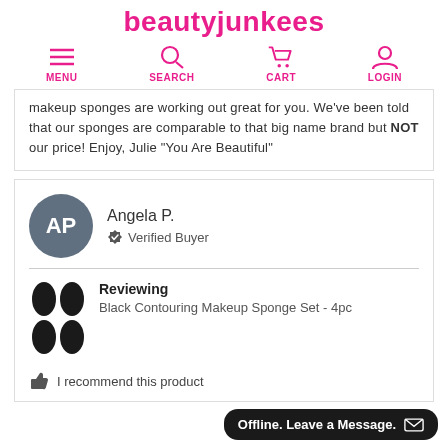beautyjunkees
MENU  SEARCH  CART  LOGIN
makeup sponges are working out great for you. We've been told that our sponges are comparable to that big name brand but NOT our price! Enjoy, Julie "You Are Beautiful"
Angela P.
Verified Buyer
Reviewing
Black Contouring Makeup Sponge Set - 4pc
I recommend this product
Offline. Leave a Message.